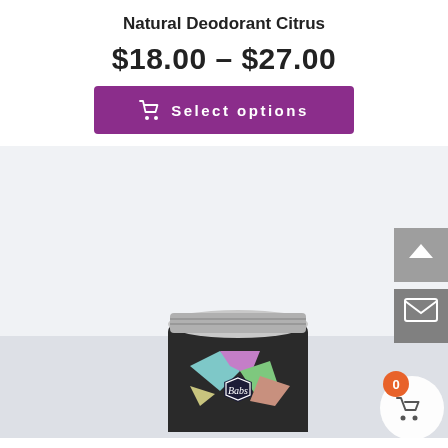Natural Deodorant Citrus
$18.00 – $27.00
Select options
[Figure (photo): Product photo of a small dark jar with silver lid and colorful geometric label reading 'Babs', on a light gray background. Sidebar navigation buttons visible on right side with up-arrow and mail icons. Orange cart badge showing '0' and white circular cart button at bottom right.]